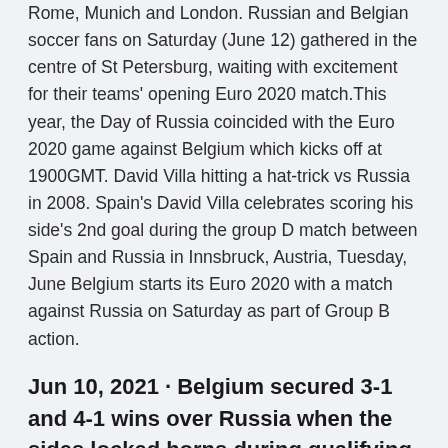Rome, Munich and London. Russian and Belgian soccer fans on Saturday (June 12) gathered in the centre of St Petersburg, waiting with excitement for their teams' opening Euro 2020 match.This year, the Day of Russia coincided with the Euro 2020 game against Belgium which kicks off at 1900GMT. David Villa hitting a hat-trick vs Russia in 2008. Spain's David Villa celebrates scoring his side's 2nd goal during the group D match between Spain and Russia in Innsbruck, Austria, Tuesday, June Belgium starts its Euro 2020 with a match against Russia on Saturday as part of Group B action.
Jun 10, 2021 · Belgium secured 3-1 and 4-1 wins over Russia when the sides locked horns during qualifying for Euro 2020, and